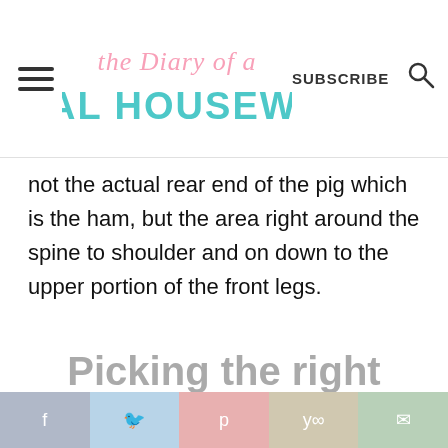the Diary of a Real Housewife | SUBSCRIBE
not the actual rear end of the pig which is the ham, but the area right around the spine to shoulder and on down to the upper portion of the front legs.
Picking the right Pork Butt (Shoulder):